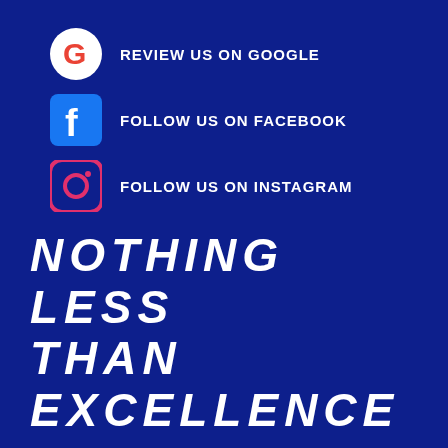REVIEW US ON GOOGLE
FOLLOW US ON FACEBOOK
FOLLOW US ON INSTAGRAM
NOTHING LESS THAN EXCELLENCE
CONESTOGA COLLISION IS PENNSYLVANIA'S PREMIER COLLISION & AUTO BODY REPAIR SHOP
CLICK TO CALL: 610-644-1000